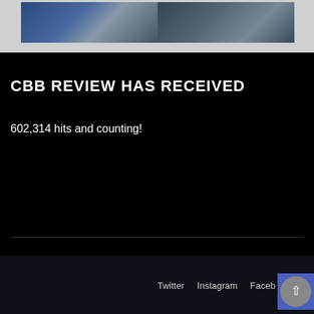[Figure (photo): Two cropped photo images side by side showing people, partially visible at the top of the page]
CBB REVIEW HAS RECEIVED
602,314 hits and counting!
Twitter  Instagram  Faceb...